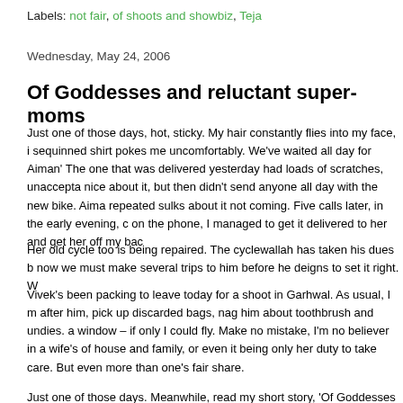Labels: not fair, of shoots and showbiz, Teja
Wednesday, May 24, 2006
Of Goddesses and reluctant super-moms
Just one of those days, hot, sticky. My hair constantly flies into my face, i sequinned shirt pokes me uncomfortably. We've waited all day for Aiman' The one that was delivered yesterday had loads of scratches, unaccepta nice about it, but then didn't send anyone all day with the new bike. Aima repeated sulks about it not coming. Five calls later, in the early evening, c on the phone, I managed to get it delivered to her and get her off my bac
Her old cycle too is being repaired. The cyclewallah has taken his dues b now we must make several trips to him before he deigns to set it right. W
Vivek's been packing to leave today for a shoot in Garhwal. As usual, I m after him, pick up discarded bags, nag him about toothbrush and undies. a window – if only I could fly. Make no mistake, I'm no believer in a wife's of house and family, or even it being only her duty to take care. But even more than one's fair share.
Just one of those days. Meanwhile, read my short story, 'Of Goddesses a